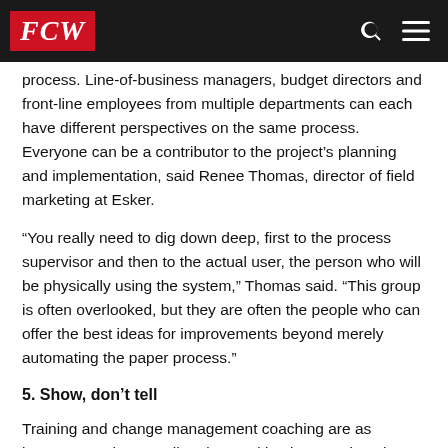FCW
process. Line-of-business managers, budget directors and front-line employees from multiple departments can each have different perspectives on the same process. Everyone can be a contributor to the projects planning and implementation, said Renee Thomas, director of field marketing at Esker.
You really need to dig down deep, first to the process supervisor and then to the actual user, the person who will be physically using the system, Thomas said. This group is often overlooked, but they are often the people who can offer the best ideas for improvements beyond merely automating the paper process.
5. Show, dont tell
Training and change management coaching are as important to the overall project and implementation plan as any technical requirements. Giving up paper is often harder than it sounds for